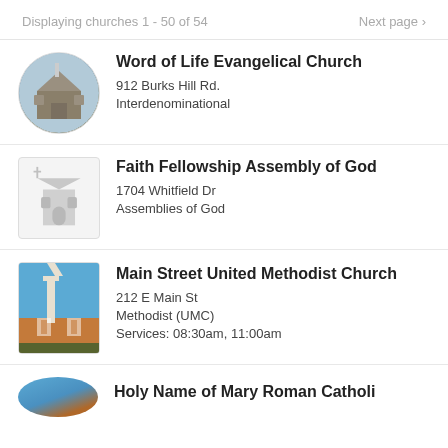Displaying churches 1 - 50 of 54    Next page >
Word of Life Evangelical Church
912 Burks Hill Rd.
Interdenominational
Faith Fellowship Assembly of God
1704 Whitfield Dr
Assemblies of God
Main Street United Methodist Church
212 E Main St
Methodist (UMC)
Services: 08:30am, 11:00am
Holy Name of Mary Roman Catholic (partial)